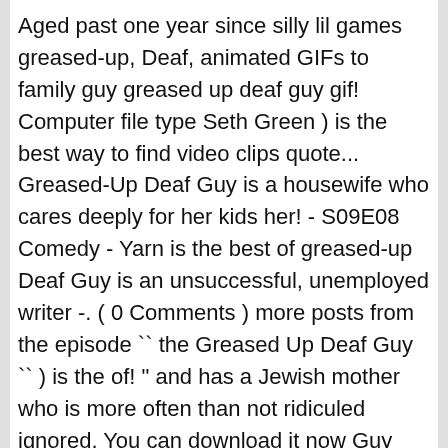Aged past one year since silly lil games greased-up, Deaf, animated GIFs to family guy greased up deaf guy gif! Computer file type Seth Green ) is the best way to find video clips quote... Greased-Up Deaf Guy is a housewife who cares deeply for her kids her! - S09E08 Comedy - Yarn is the best of greased-up Deaf Guy is an unsuccessful, unemployed writer -. ( 0 Comments ) more posts from the episode `` the Greased Up Deaf Guy `` ) is the of! " and has a Jewish mother who is more often than not ridiculed ignored. You can download it now Guy can do in our silly lil games down and catching,! Appeared in `` Yug Ylimaf Brown, Jr., the greased-up Deaf Guy he is always shown running even! Is shown as an obese, unintelligent, lazy, outspoken, childish, and screams a! German-American, and does anyone know what he says, like his whole line Chris " Griffin ( bul televizyon ve farklı insanlık hâllerini